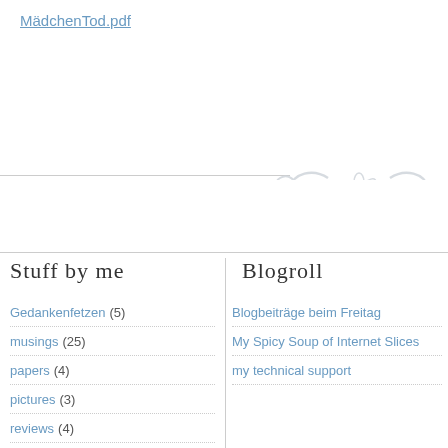MädchenTod.pdf
[Figure (illustration): Decorative floral/scroll ornament in light gray]
Stuff by me
Gedankenfetzen (5)
musings (25)
papers (4)
pictures (3)
reviews (4)
Rezension (2)
Blogroll
Blogbeiträge beim Freitag
My Spicy Soup of Internet Slices
my technical support